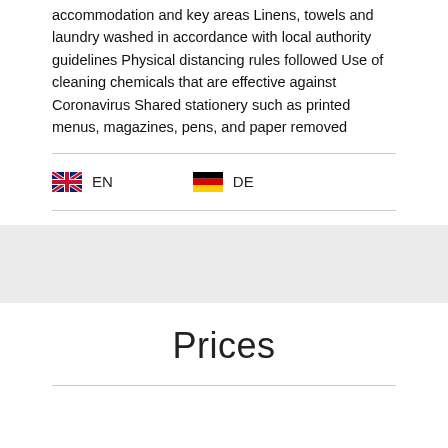accommodation and key areas Linens, towels and laundry washed in accordance with local authority guidelines Physical distancing rules followed Use of cleaning chemicals that are effective against Coronavirus Shared stationery such as printed menus, magazines, pens, and paper removed
EN   DE
Prices